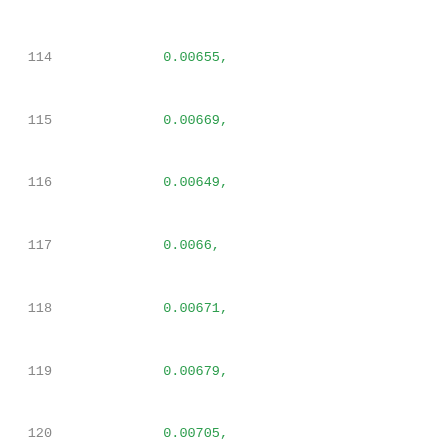114    0.00655,
115    0.00669,
116    0.00649,
117    0.0066,
118    0.00671,
119    0.00679,
120    0.00705,
121    0.00741,
122    0.00901,
123    0.01011,
124    0.01323,
125    0.01645
126    ]
127    },
128    "rise_power,hidden_pwr_template13": {
129        "index_1": [
130            0.01,
131            0.01735,
132            0.02602,
133            0.03903,
134            0.05855,
135            0.08782